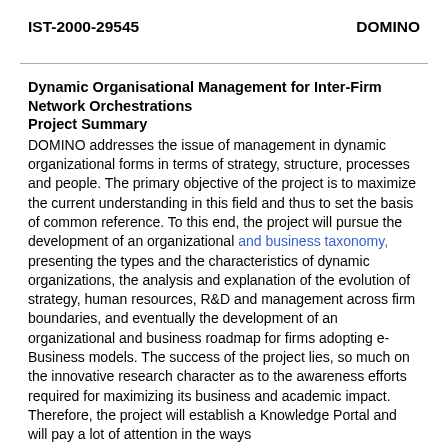IST-2000-29545    DOMINO
Dynamic Organisational Management for Inter-Firm Network Orchestrations
Project Summary
DOMINO addresses the issue of management in dynamic organizational forms in terms of strategy, structure, processes and people. The primary objective of the project is to maximize the current understanding in this field and thus to set the basis of common reference. To this end, the project will pursue the development of an organizational and business taxonomy, presenting the types and the characteristics of dynamic organizations, the analysis and explanation of the evolution of strategy, human resources, R&D and management across firm boundaries, and eventually the development of an organizational and business roadmap for firms adopting e-Business models. The success of the project lies, so much on the innovative research character as to the awareness efforts required for maximizing its business and academic impact. Therefore, the project will establish a Knowledge Portal and will pay a lot of attention in the ways